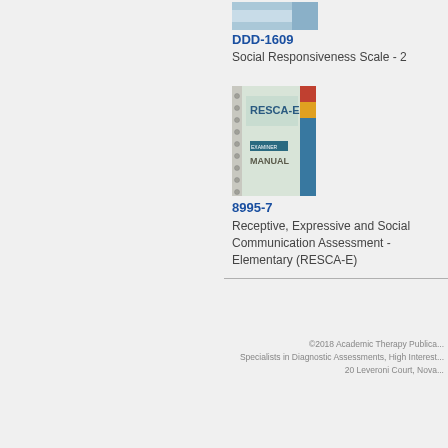[Figure (photo): Book cover thumbnail for Social Responsiveness Scale - 2 (DDD-1609), shown partially at top]
DDD-1609
Social Responsiveness Scale - 2
[Figure (photo): Book cover for RESCA-E (Receptive, Expressive and Social Communication Assessment - Elementary), spiral-bound manual with blue and teal design]
8995-7
Receptive, Expressive and Social Communication Assessment - Elementary (RESCA-E)
©2018 Academic Therapy Publications · Specialists in Diagnostic Assessments, High Interest · 20 Leveroni Court, Nova